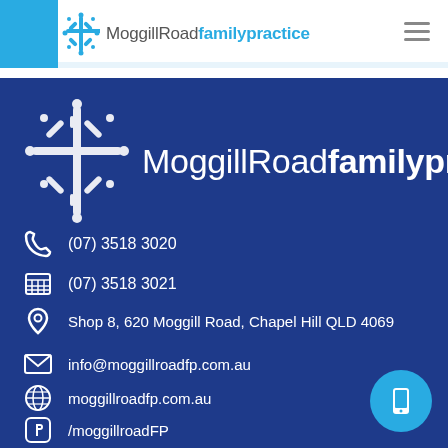[Figure (logo): Moggill Road Family Practice header logo with navigation hamburger menu]
[Figure (logo): Large Moggill Road family practice logo on blue background]
(07) 3518 3020
(07) 3518 3021
Shop 8, 620 Moggill Road, Chapel Hill QLD 4069
info@moggillroadfp.com.au
moggillroadfp.com.au
/moggillroadFP